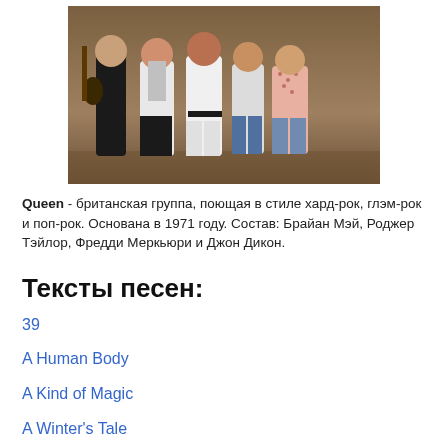[Figure (photo): Black and white/color photo of the band Queen - four men posing together, one holding a guitar]
Queen - британская группа, поющая в стиле хард-рок, глэм-рок и поп-рок. Основана в 1971 году. Состав: Брайан Мэй, Роджер Тэйлор, Фредди Меркьюри и Джон Дикон.
Тексты песен:
39
A Human Body
A Kind of Magic
A Winter's Tale